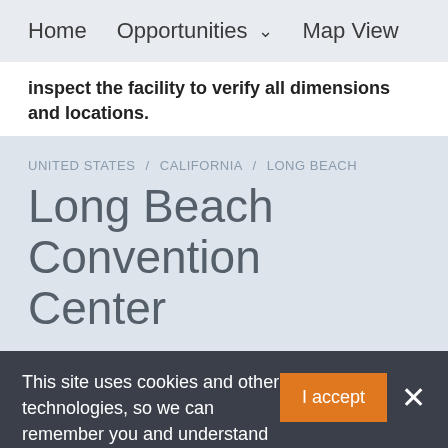Home   Opportunities ∨   Map View
inspect the facility to verify all dimensions and locations.
UNITED STATES / CALIFORNIA / LONG BEACH
Long Beach Convention Center
This site uses cookies and other technologies, so we can remember you and understand how you and other visitors use our site. By continuing to browse, cookies will be set on your device. For more information, see our Cookie Policy
I accept
×